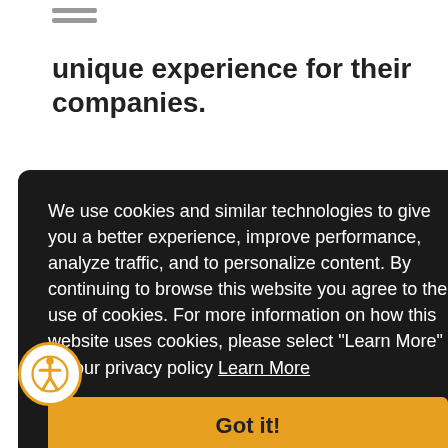unique experience for their companies.
We use cookies and similar technologies to give you a better experience, improve performance, analyze traffic, and to personalize content. By continuing to browse this website you agree to the use of cookies. For more information on how this website uses cookies, please select "Learn More" for our privacy policy Learn More
Got it!
Last month we covered how to hide fields,